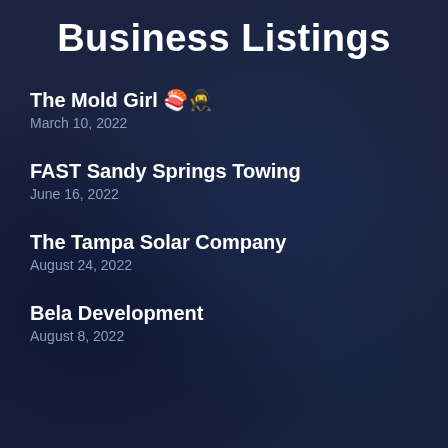Business Listings
The Mold Girl 🍣🥷
March 10, 2022
FAST Sandy Springs Towing
June 16, 2022
The Tampa Solar Company
August 24, 2022
Bela Development
August 8, 2022